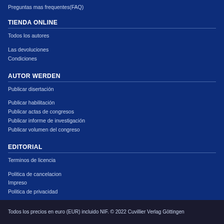Preguntas mas frequentes(FAQ)
TIENDA ONLINE
Todos los autores
Las devoluciones
Condiciones
AUTOR WERDEN
Publicar disertación
Publicar habilitación
Publicar actas de congresos
Publicar informe de investigación
Publicar volumen del congreso
EDITORIAL
Terminos de licencia
Politica de cancelacion
Impreso
Politica de privacidad
Todos los precios en euro (EUR) incluido NIF. © 2022 Cuvillier Verlag Göttingen